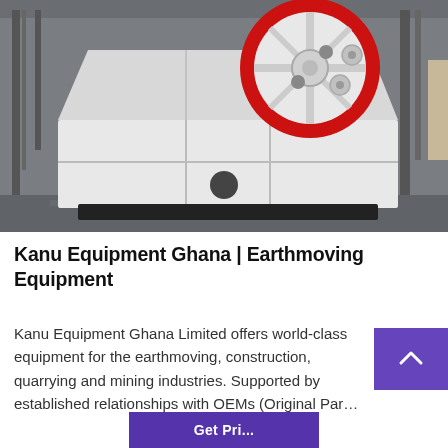[Figure (photo): Industrial jaw crusher machine painted white with a large red and white flywheel on top, photographed in a factory/warehouse setting with grey steel framework in the background.]
Kanu Equipment Ghana | Earthmoving Equipment
Kanu Equipment Ghana Limited offers world-class equipment for the earthmoving, construction, quarrying and mining industries. Supported by established relationships with OEMs (Original Par…